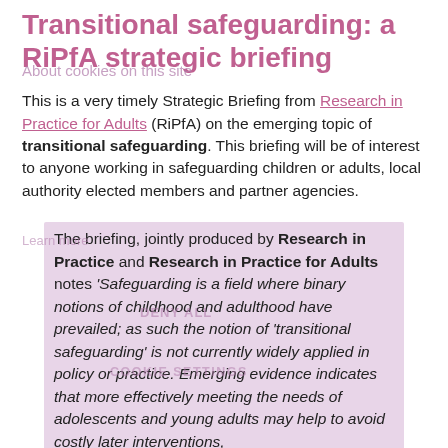Transitional safeguarding: a RiPfA strategic briefing
This is a very timely Strategic Briefing from Research in Practice for Adults (RiPfA) on the emerging topic of transitional safeguarding. This briefing will be of interest to anyone working in safeguarding children or adults, local authority elected members and partner agencies.
The briefing, jointly produced by Research in Practice and Research in Practice for Adults notes 'Safeguarding is a field where binary notions of childhood and adulthood have prevailed; as such the notion of 'transitional safeguarding' is not currently widely applied in policy or practice. Emerging evidence indicates that more effectively meeting the needs of adolescents and young adults may help to avoid costly later interventions,